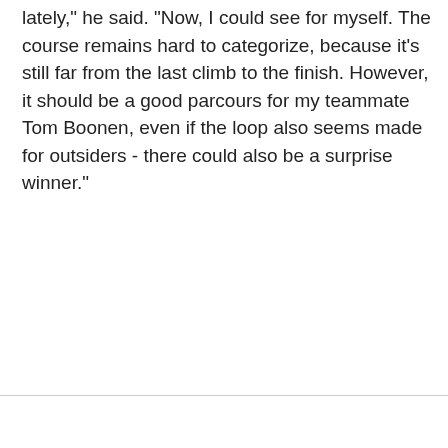lately," he said. "Now, I could see for myself. The course remains hard to categorize, because it's still far from the last climb to the finish. However, it should be a good parcours for my teammate Tom Boonen, even if the loop also seems made for outsiders - there could also be a surprise winner."